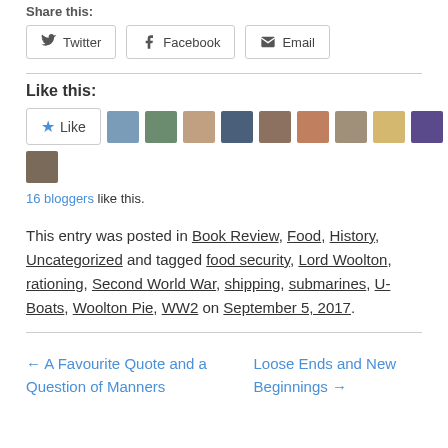Share this:
Twitter  Facebook  Email
Like this:
[Figure (other): Like button with star icon followed by 10 blogger avatar images]
16 bloggers like this.
This entry was posted in Book Review, Food, History, Uncategorized and tagged food security, Lord Woolton, rationing, Second World War, shipping, submarines, U-Boats, Woolton Pie, WW2 on September 5, 2017.
← A Favourite Quote and a Question of Manners
Loose Ends and New Beginnings →